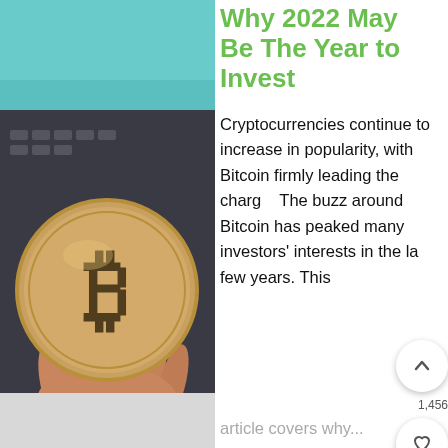[Figure (photo): Hand holding a gold Bitcoin coin in front of a laptop/keyboard with teal screen background]
Why 2022 May Be The Year to Invest
Cryptocurrencies continue to increase in popularity, with Bitcoin firmly leading the charge. The buzz around Bitcoin has peaked many investors' interests in the last few years. This article covers why...